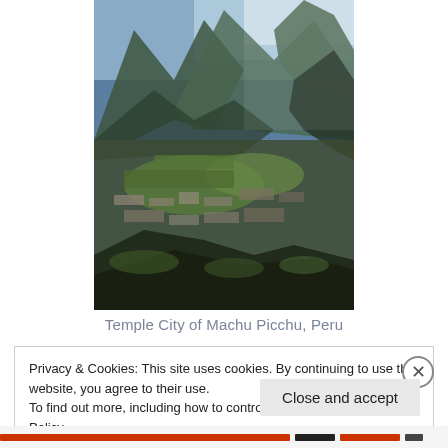[Figure (photo): Aerial view of the ancient Inca ruins of Machu Picchu, Peru, with dramatic mountain peaks in the background under a partly cloudy sky. Stone terraces and structures are visible in the foreground with green vegetation.]
Temple City of Machu Picchu, Peru
Privacy & Cookies: This site uses cookies. By continuing to use this website, you agree to their use.
To find out more, including how to control cookies, see here: Cookie Policy
Close and accept